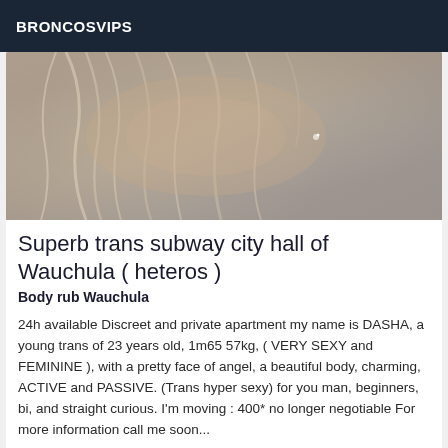BRONCOSVIPS
[Figure (photo): Close-up photo of a person with light blonde/white hair, showing the back and side of their head with a piece of jewelry visible near the ear.]
Superb trans subway city hall of Wauchula ( heteros )
Body rub Wauchula
24h available Discreet and private apartment my name is DASHA, a young trans of 23 years old, 1m65 57kg, ( VERY SEXY and FEMININE ), with a pretty face of angel, a beautiful body, charming, ACTIVE and PASSIVE. (Trans hyper sexy) for you man, beginners, bi, and straight curious. I'm moving : 400* no longer negotiable For more information call me soon...
[Figure (photo): Partial photo visible at the bottom of the page, appears to be another listing image.]